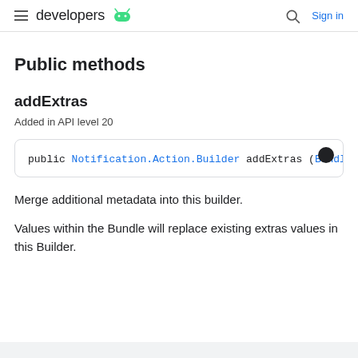developers | Sign in
Public methods
addExtras
Added in API level 20
[Figure (screenshot): Code block showing: public Notification.Action.Builder addExtras (Bundle]
Merge additional metadata into this builder.
Values within the Bundle will replace existing extras values in this Builder.